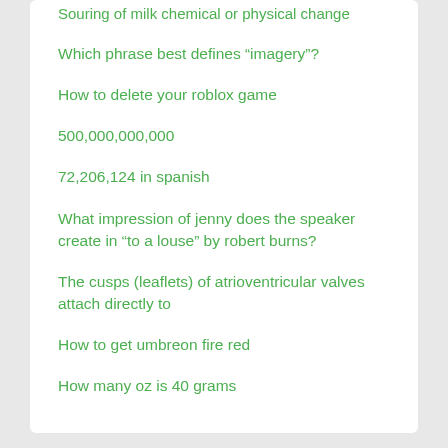Souring of milk chemical or physical change
Which phrase best defines “imagery”?
How to delete your roblox game
500,000,000,000
72,206,124 in spanish
What impression of jenny does the speaker create in “to a louse” by robert burns?
The cusps (leaflets) of atrioventricular valves attach directly to
How to get umbreon fire red
How many oz is 40 grams